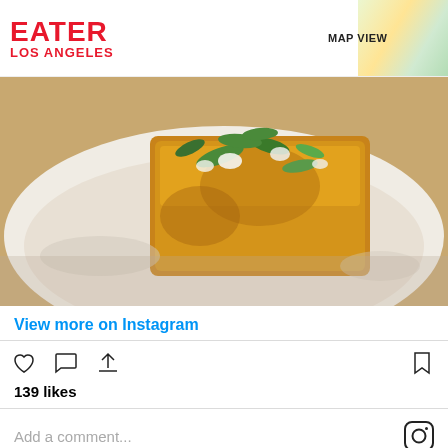EATER LOS ANGELES | MAP VIEW
[Figure (photo): Close-up food photo showing a golden-brown piece of toast topped with green herbs and white cheese/cream on a white plate]
View more on Instagram
[Figure (infographic): Instagram social interaction icons: heart, comment bubble, share arrow, and bookmark. Shows 139 likes. Comment input field with Instagram logo.]
Gwen's Specialty Cakes
This Inglewood sweets boutique specializes in items like pralines, peach cobbler, and bread pudding. But the cakes also appeal with German chocolate